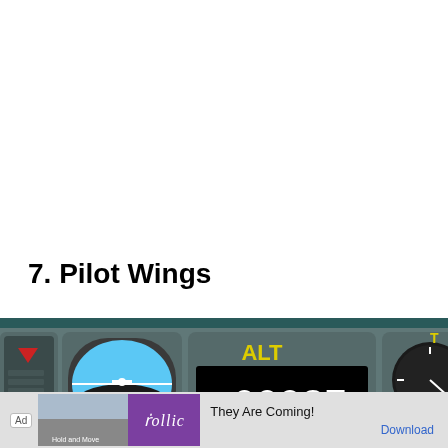7. Pilot Wings
[Figure (screenshot): Pilot Wings game cockpit instrument panel showing ALT 00037 FT altimeter display, artificial horizon gauge, and speed/fuel gauges on a teal/grey background.]
[Figure (screenshot): Mobile advertisement banner: Ad badge, game screenshot thumbnail, Rollic purple logo, text 'They Are Coming!', Download link in blue.]